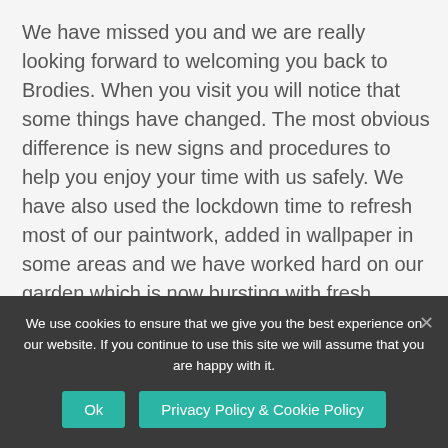We have missed you and we are really looking forward to welcoming you back to Brodies. When you visit you will notice that some things have changed. The most obvious difference is new signs and procedures to help you enjoy your time with us safely. We have also used the lockdown time to refresh most of our paintwork, added in wallpaper in some areas and we have worked hard on our garden which is now bursting with fresh produce and flowers.

Now we have reopened we are running our Be Kind
We use cookies to ensure that we give you the best experience on our website. If you continue to use this site we will assume that you are happy with it.